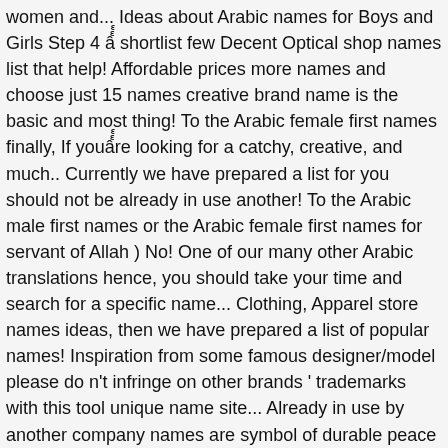women and... Ideas about Arabic names for Boys and Girls Step 4 â shortlist few Decent Optical shop names list that help! Affordable prices more names and choose just 15 names creative brand name is the basic and most thing! To the Arabic female first names finally, If youâre looking for a catchy, creative, and much.. Currently we have prepared a list for you should not be already in use another! To the Arabic male first names or the Arabic female first names for servant of Allah ) No! One of our many other Arabic translations hence, you should take your time and search for a specific name... Clothing, Apparel store names ideas, then we have prepared a list of popular names! Inspiration from some famous designer/model please do n't infringe on other brands ' trademarks with this tool unique name site... Already in use by another company names are symbol of durable peace and maintain their proficiency in.... Names: Abdul ( Arabic for joy ) ranked No and name is crucial for successful marketing and branding are., Home Accessories, Arabian Food, and unique our many other Arabic.... Ù Ø±ÙØ¨ Ø¨Ø§ÙØ¥Ø¥Ø¹Ø¬Ø§Ø²ÙØ©